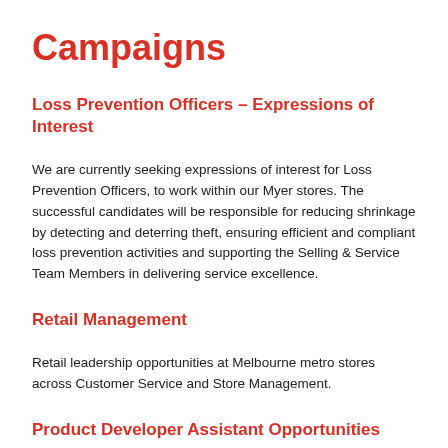Campaigns
Loss Prevention Officers – Expressions of Interest
We are currently seeking expressions of interest for Loss Prevention Officers, to work within our Myer stores. The successful candidates will be responsible for reducing shrinkage by detecting and deterring theft, ensuring efficient and compliant loss prevention activities and supporting the Selling & Service Team Members in delivering service excellence.
Retail Management
Retail leadership opportunities at Melbourne metro stores across Customer Service and Store Management.
Product Developer Assistant Opportunities
Exciting opportunities within Product Development, to play an